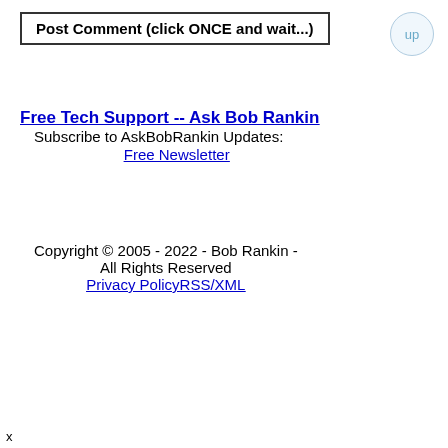Post Comment (click ONCE and wait...)
Free Tech Support -- Ask Bob Rankin
Subscribe to AskBobRankin Updates:
Free Newsletter
Copyright © 2005 - 2022 - Bob Rankin - All Rights Reserved
Privacy PolicyRSS/XML